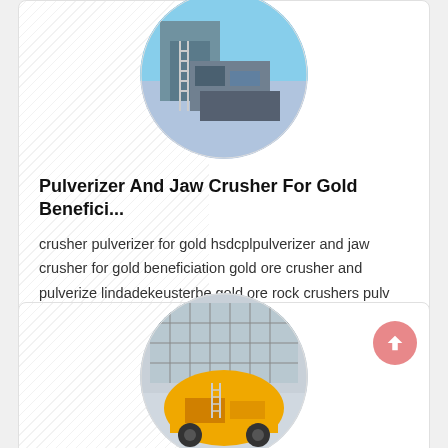[Figure (photo): Circular photo of industrial pulverizer/crusher machinery in blue/grey tones]
Pulverizer And Jaw Crusher For Gold Benefici...
crusher pulverizer for gold hsdcplpulverizer and jaw crusher for gold beneficiation gold ore crusher and pulverize lindadekeusterbe gold ore rock crushers pulv Tel:+86 371 67999188 Email: [email protected]
[Figure (photo): Circular photo of yellow jaw crusher machinery]
Iro Ore Jaw Crusher Provider En India